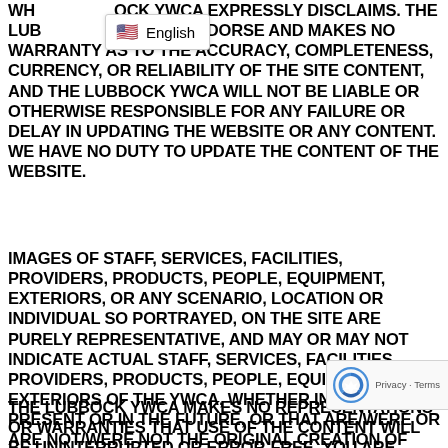WH[ICH THE LUBB]OCK YWCA EXPRESSLY DISCLAIMS. THE LUBB[OCK YWCA] DOES NOT ENDORSE AND MAKES NO WARRANTY AS TO THE ACCURACY, COMPLETENESS, CURRENCY, OR RELIABILITY OF THE SITE CONTENT, AND THE LUBBOCK YWCA WILL NOT BE LIABLE OR OTHERWISE RESPONSIBLE FOR ANY FAILURE OR DELAY IN UPDATING THE WEBSITE OR ANY CONTENT. WE HAVE NO DUTY TO UPDATE THE CONTENT OF THE WEBSITE.
IMAGES OF STAFF, SERVICES, FACILITIES, PROVIDERS, PRODUCTS, PEOPLE, EQUIPMENT, EXTERIORS, OR ANY SCENARIO, LOCATION OR INDIVIDUAL SO PORTRAYED, ON THE SITE ARE PURELY REPRESENTATIVE, AND MAY OR MAY NOT INDICATE ACTUAL STAFF, SERVICES, FACILITIES, PROVIDERS, PRODUCTS, PEOPLE, EQUIPMENT, EXTERIORS OF THE YWCA, WHETHER IN THE PAST, PRESENT OR IN THE FUTURE, OR THAT ARE/WERE OR ARE NOT/WERE NOT THE ORIGINAL CREATION OF THE LUBBOCK YWCA.
THE LUBBOCK YWCA MAKES NO REPRESENTATIONS OR WARRANTIES THAT USE OF THE CONTENT WILL BE UNINTERRUPTED OR ERROR-FREE. YOU ARE RESPONSIBLE